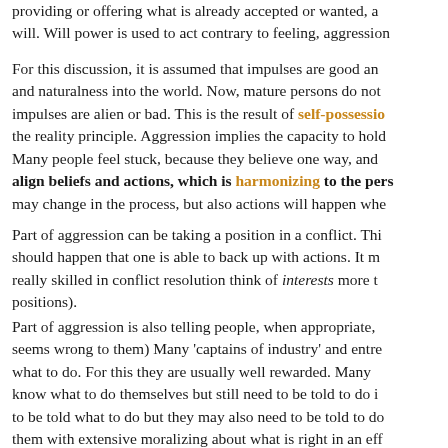providing or offering what is already accepted or wanted, a will. Will power is used to act contrary to feeling, aggression
For this discussion, it is assumed that impulses are good an and naturalness into the world. Now, mature persons do not impulses are alien or bad. This is the result of self-possession the reality principle. Aggression implies the capacity to hold
Many people feel stuck, because they believe one way, and align beliefs and actions, which is harmonizing to the pers may change in the process, but also actions will happen whe
Part of aggression can be taking a position in a conflict. Thi should happen that one is able to back up with actions. It m really skilled in conflict resolution think of interests more t positions).
Part of aggression is also telling people, when appropriate, seems wrong to them) Many 'captains of industry' and entre what to do. For this they are usually well rewarded. Many know what to do themselves but still need to be told to do i to be told what to do but they may also need to be told to do them with extensive moralizing about what is right in an eff tell someone what to do without dis-respecting or dehunani not incompatible.